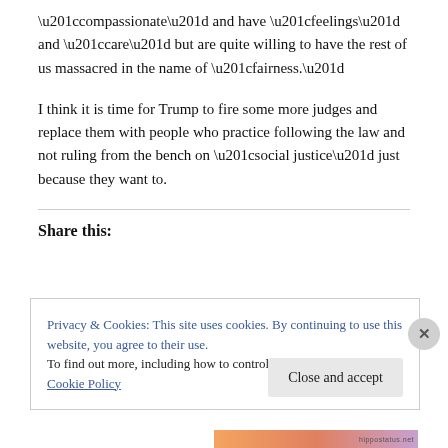“compassionate” and have “feelings” and “care” but are quite willing to have the rest of us massacred in the name of “fairness.”
I think it is time for Trump to fire some more judges and replace them with people who practice following the law and not ruling from the bench on “social justice” just because they want to.
Share this:
Privacy & Cookies: This site uses cookies. By continuing to use this website, you agree to their use.
To find out more, including how to control cookies, see here: Cookie Policy